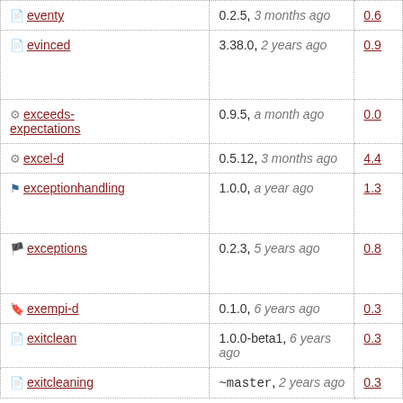| Package | Version | Score |
| --- | --- | --- |
| eventy | 0.2.5, 3 months ago | 0.6 |
| evinced | 3.38.0, 2 years ago | 0.9 |
| exceeds-expectations | 0.9.5, a month ago | 0.0 |
| excel-d | 0.5.12, 3 months ago | 4.4 |
| exceptionhandling | 1.0.0, a year ago | 1.3 |
| exceptions | 0.2.3, 5 years ago | 0.8 |
| exempi-d | 0.1.0, 6 years ago | 0.3 |
| exitclean | 1.0.0-beta1, 6 years ago | 0.3 |
| exitcleaning | ~master, 2 years ago | 0.3 |